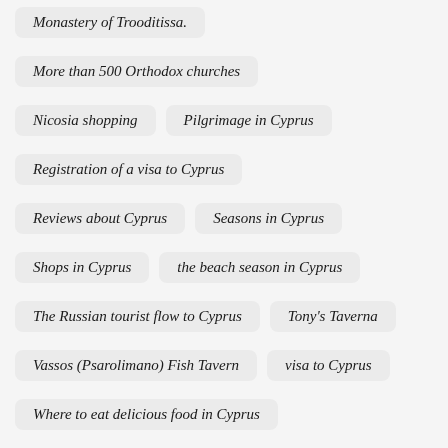Monastery of Trooditissa.
More than 500 Orthodox churches
Nicosia shopping
Pilgrimage in Cyprus
Registration of a visa to Cyprus
Reviews about Cyprus
Seasons in Cyprus
Shops in Cyprus
the beach season in Cyprus
The Russian tourist flow to Cyprus
Tony's Taverna
Vassos (Psarolimano) Fish Tavern
visa to Cyprus
Where to eat delicious food in Cyprus
Where to have a better holiday in Cyprus
Wines
Wines in Cyprus